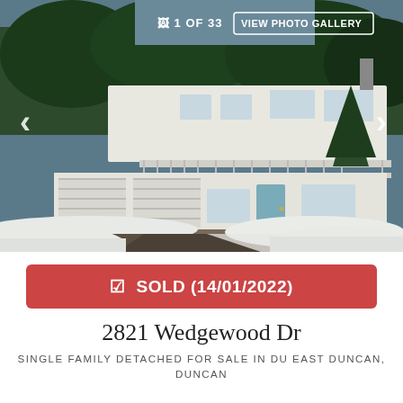[Figure (photo): Exterior photo of a two-storey white house with attached garage, large deck, surrounded by snow on the ground and evergreen trees in the background. Navigation arrows on left and right. Top overlay shows '1 OF 33' and 'VIEW PHOTO GALLERY' button.]
✔ SOLD (14/01/2022)
2821 Wedgewood Dr
SINGLE FAMILY DETACHED FOR SALE IN DU EAST DUNCAN, DUNCAN